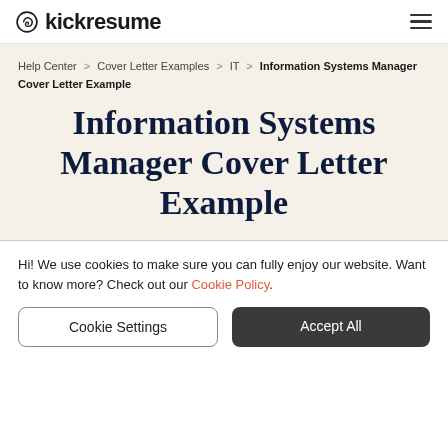kickresume
Help Center > Cover Letter Examples > IT > Information Systems Manager Cover Letter Example
Information Systems Manager Cover Letter Example
Hi! We use cookies to make sure you can fully enjoy our website. Want to know more? Check out our Cookie Policy.